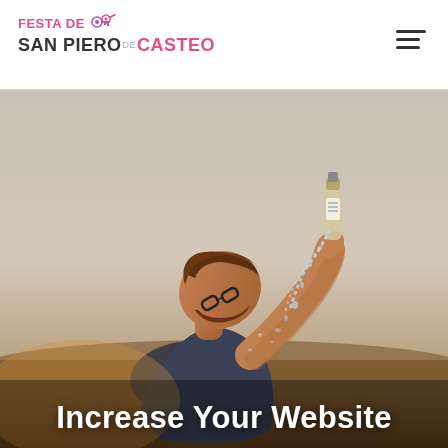FESTA DE SAN PIERO DE CASTEO
[Figure (photo): Person tilting head back drinking from a bottle, outdoor golden hour/dusk background, water splashing, wearing glasses]
Increase Your Website